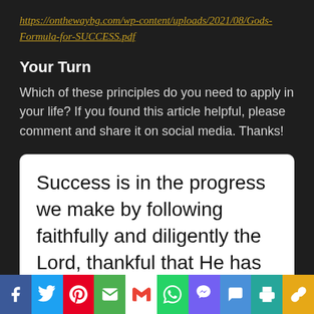https://onthewaybg.com/wp-content/uploads/2021/08/Gods-Formula-for-SUCCESS.pdf
Your Turn
Which of these principles do you need to apply in your life? If you found this article helpful, please comment and share it on social media. Thanks!
Success is in the progress we make by following faithfully and diligently the Lord, thankful that He has given us strength and considered us trustworthy to
[Figure (other): Social media sharing bar with icons: Facebook, Twitter, Pinterest, Email, Gmail, WhatsApp, Viber, Speech bubble, Print, Link]